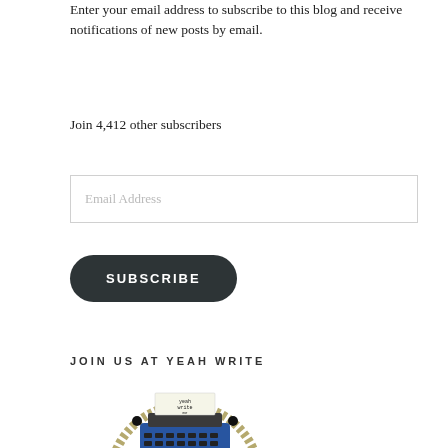Enter your email address to subscribe to this blog and receive notifications of new posts by email.
Join 4,412 other subscribers
[Figure (screenshot): Email address input box with placeholder text 'Email Address']
[Figure (screenshot): Dark rounded 'SUBSCRIBE' button]
JOIN US AT YEAH WRITE
[Figure (logo): Yeah Write badge logo featuring a typewriter inside a rope-bordered circular emblem with text 'yeah write me']